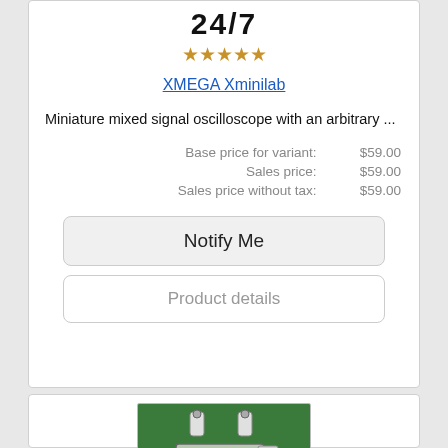24/7
★★★★★
XMEGA Xminilab
Miniature mixed signal oscilloscope with an arbitrary ...
| Base price for variant: | $59.00 |
| Sales price: | $59.00 |
| Sales price without tax: | $59.00 |
Notify Me
Product details
[Figure (photo): Photo of XMEGA Xminilab miniature mixed signal oscilloscope PCB with LCD display showing waveform and BNC connectors]